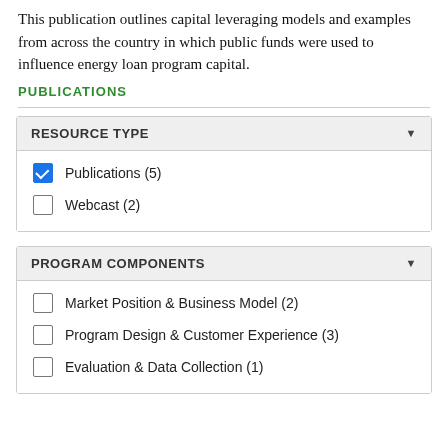This publication outlines capital leveraging models and examples from across the country in which public funds were used to influence energy loan program capital.
PUBLICATIONS
| RESOURCE TYPE |
| --- |
| ☑ Publications (5) |
| ☐ Webcast (2) |
| PROGRAM COMPONENTS |
| --- |
| ☐ Market Position & Business Model (2) |
| ☐ Program Design & Customer Experience (3) |
| ☐ Evaluation & Data Collection (1) |